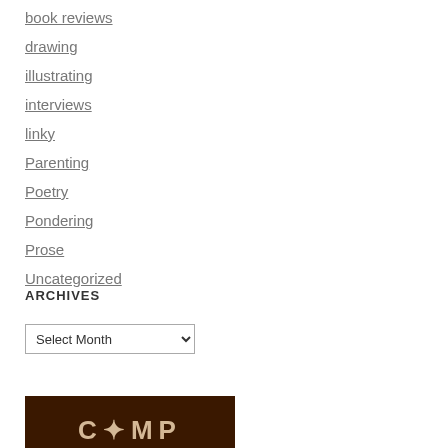book reviews
drawing
illustrating
interviews
linky
Parenting
Poetry
Pondering
Prose
Uncategorized
ARCHIVES
Select Month
[Figure (photo): Dark brown background with partial text reading CAMP in cream/tan letters, visible at the bottom of the page]